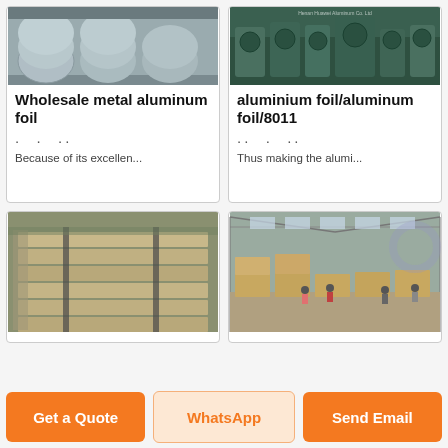[Figure (photo): Stacked aluminum foil rolls in a warehouse/factory setting, silver metallic rolls]
Wholesale metal aluminum foil
· · ··
Because of its excellen...
[Figure (photo): Industrial aluminum rolling mill machinery with green equipment, Henan Huawei Aluminum Co. Ltd watermark]
aluminium foil/aluminum foil/8011
·· · ··
Thus making the alumi...
[Figure (photo): Stacks of aluminum sheets wrapped in brown protective paper in a warehouse]
[Figure (photo): Large warehouse interior with workers and stacked aluminum products on wooden pallets]
Get a Quote
WhatsApp
Send Email